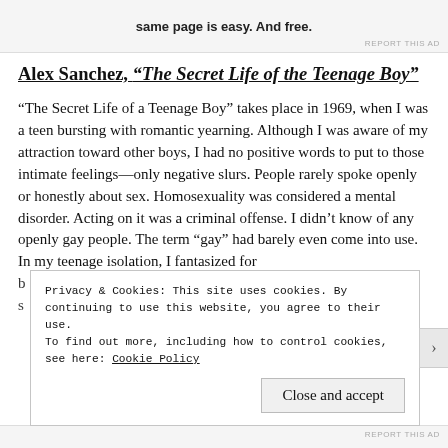[Figure (other): Ad banner at top with text 'same page is easy. And free.' and a 'REPORT THIS AD' label]
Alex Sanchez, “The Secret Life of the Teenage Boy”
“The Secret Life of a Teenage Boy” takes place in 1969, when I was a teen bursting with romantic yearning. Although I was aware of my attraction toward other boys, I had no positive words to put to those intimate feelings—only negative slurs. People rarely spoke openly or honestly about sex. Homosexuality was considered a mental disorder. Acting on it was a criminal offense. I didn’t know of any openly gay people. The term “gay” had barely even come into use. In my teenage isolation, I fantasized for
Privacy & Cookies: This site uses cookies. By continuing to use this website, you agree to their use.
To find out more, including how to control cookies, see here: Cookie Policy
Close and accept